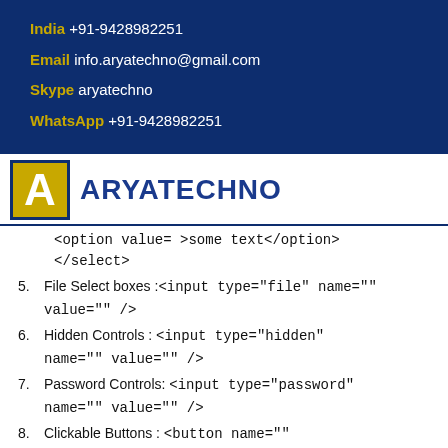India  +91-9428982251
Email  info.aryatechno@gmail.com
Skype  aryatechno
WhatsApp  +91-9428982251
[Figure (logo): Aryatechno logo: gold square with white letter A, beside blue text ARYATECHNO]
<option value=  >some text</option>
</select>
5. File Select boxes :<input type="file" name="" value="" />
6. Hidden Controls : <input type="hidden" name="" value="" />
7. Password Controls: <input type="password" name="" value="" />
8. Clickable Buttons : <button name=""